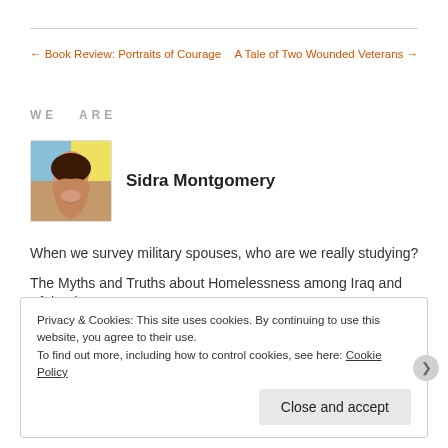← Book Review: Portraits of Courage   A Tale of Two Wounded Veterans →
WE ARE
[Figure (photo): Portrait photo of Sidra Montgomery]
Sidra Montgomery
When we survey military spouses, who are we really studying?
The Myths and Truths about Homelessness among Iraq and Afghanistan Veterans
(Belated) One Year Celebration: Our Top 5 Posts
Privacy & Cookies: This site uses cookies. By continuing to use this website, you agree to their use.
To find out more, including how to control cookies, see here: Cookie Policy